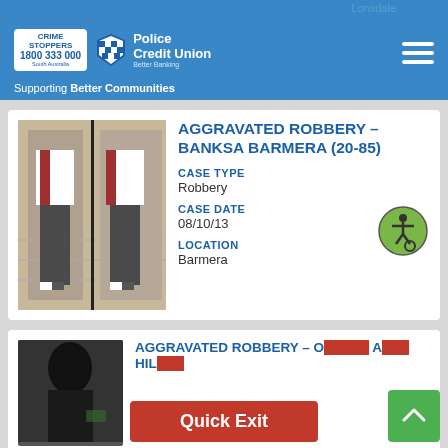Lonsdale
[Figure (logo): Crime Stoppers and Police Credit Union logos with 'Supporting Better Communities' tagline]
AGGRAVATED ROBBERY – BANKSA BARMERA (20-85)
CASE TYPE
Robbery
CASE DATE
08/10/13
LOCATION
Barmera
[Figure (photo): CCTV footage showing two views of a person wearing dark pants, white and red jacket, walking in what appears to be a store]
AGGRAVATED ROBBERY – O... A... HIL...
[Figure (photo): Dark photo of a person, partially visible]